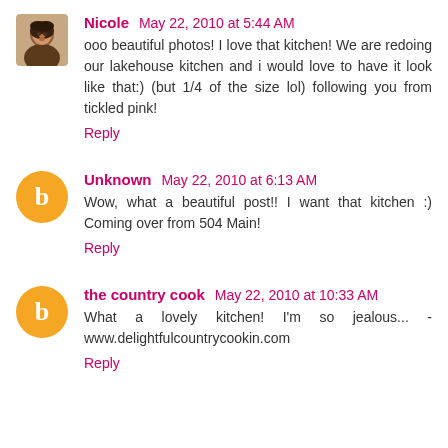Nicole May 22, 2010 at 5:44 AM
ooo beautiful photos! I love that kitchen! We are redoing our lakehouse kitchen and i would love to have it look like that:) (but 1/4 of the size lol) following you from tickled pink!
Reply
Unknown May 22, 2010 at 6:13 AM
Wow, what a beautiful post!! I want that kitchen :) Coming over from 504 Main!
Reply
the country cook May 22, 2010 at 10:33 AM
What a lovely kitchen! I'm so jealous... - www.delightfulcountrycookin.com
Reply